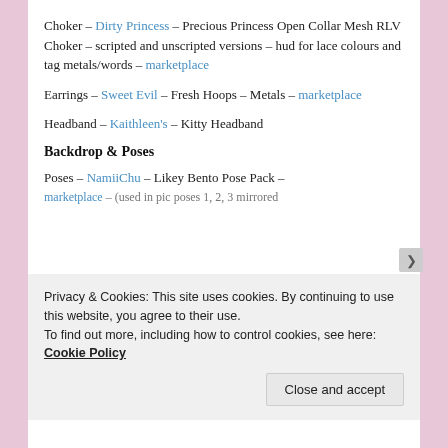Choker – Dirty Princess – Precious Princess Open Collar Mesh RLV Choker – scripted and unscripted versions – hud for lace colours and tag metals/words – marketplace
Earrings – Sweet Evil – Fresh Hoops – Metals – marketplace
Headband – Kaithleen's – Kitty Headband
Backdrop & Poses
Poses – NamiiChu – Likey Bento Pose Pack – marketplace – (used in pic poses 1, 2, 3 mirrored
Privacy & Cookies: This site uses cookies. By continuing to use this website, you agree to their use.
To find out more, including how to control cookies, see here: Cookie Policy
Close and accept